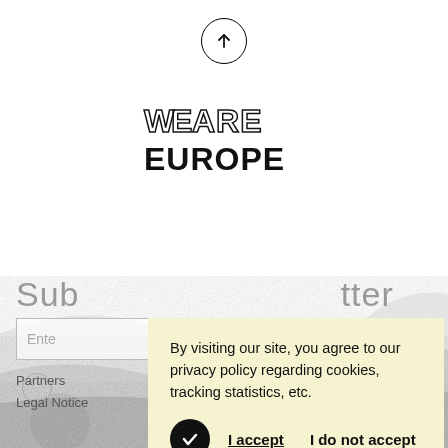[Figure (illustration): Circle with upward arrow icon (scroll to top button)]
[Figure (logo): We Are Europe logo in bold serif/sans mixed typeface]
Subscribe to our newsletter
[Figure (screenshot): Cookie consent popup overlay with light yellow background. Text: 'By visiting our site, you agree to our privacy policy regarding cookies, tracking statistics, etc.' with 'I accept' (bold, underlined) and 'I do not accept' buttons.]
Partners
Legal Notice
Website by
[Figure (logo): FRS logo in circular border]